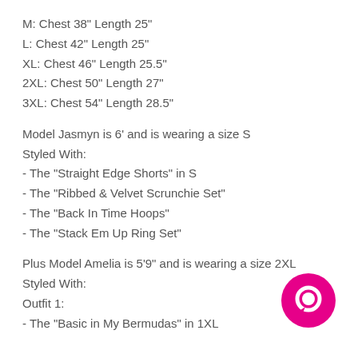M: Chest 38" Length 25"
L: Chest 42" Length 25"
XL: Chest 46" Length 25.5"
2XL: Chest 50" Length 27"
3XL: Chest 54" Length 28.5"
Model Jasmyn is 6' and is wearing a size S
Styled With:
- The "Straight Edge Shorts" in S
- The "Ribbed & Velvet Scrunchie Set"
- The "Back In Time Hoops"
- The "Stack Em Up Ring Set"
Plus Model Amelia is 5'9" and is wearing a size 2XL
Styled With:
Outfit 1:
- The "Basic in My Bermudas" in 1XL
[Figure (other): Magenta/pink circular chat bubble icon in bottom right corner]